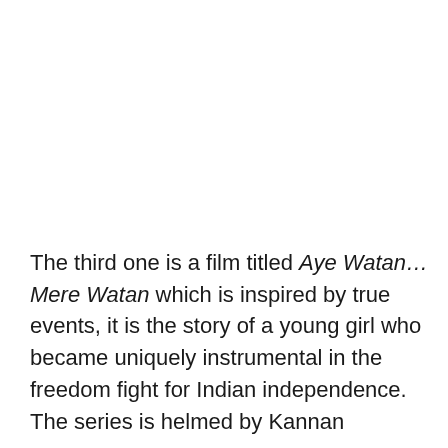The third one is a film titled Aye Watan…Mere Watan which is inspired by true events, it is the story of a young girl who became uniquely instrumental in the freedom fight for Indian independence. The series is helmed by Kannan